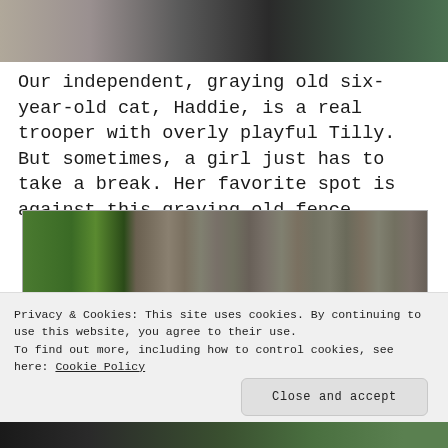[Figure (photo): Top portion of a photo showing a cat near a fence and green plants, partially cropped]
Our independent, graying old six-year-old cat, Haddie, is a real trooper with overly playful Tilly. But sometimes, a girl just has to take a break. Her favorite spot is against this graying old fence.
[Figure (photo): Photo of green plants including marigolds with yellow flowers in front of a weathered gray wooden fence]
Privacy & Cookies: This site uses cookies. By continuing to use this website, you agree to their use.
To find out more, including how to control cookies, see here: Cookie Policy
[Figure (photo): Bottom portion of a photo showing dark soil and green leafy plants, partially cropped]